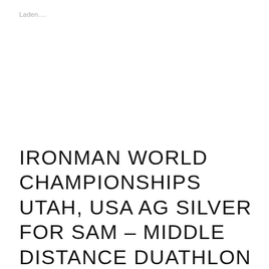Laden....
IRONMAN WORLD CHAMPIONSHIPS UTAH, USA AG SILVER FOR SAM – MIDDLE DISTANCE DUATHLON WORLD CHAMPIONSHIPS AG SILVER FOR DEBBIE – LUCAS TAKES 3RD IN MILITARY NATIONALS OLYMPIC DISTANCE – LARS JUST OUTSIDE TOP